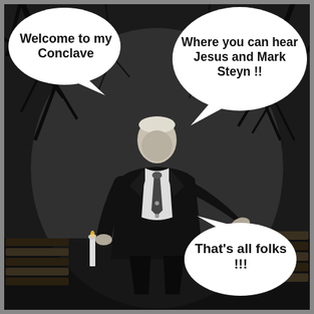[Figure (illustration): Black and white meme image of an elderly man in a dark suit standing outdoors with bare trees in background. Three speech bubbles: top-left says 'Welcome to my Conclave', top-right says 'Where you can hear Jesus and Mark Steyn !!', bottom-right says 'That's all folks !!!']
Welcome to my Conclave
Where you can hear Jesus and Mark Steyn !!
That's all folks !!!